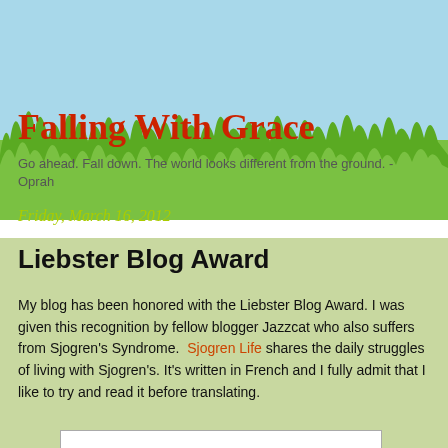[Figure (illustration): Blog header background with light blue sky and green grass silhouette]
Falling With Grace
Go ahead. Fall down. The world looks different from the ground. - Oprah
Friday, March 16, 2012
Liebster Blog Award
My blog has been honored with the Liebster Blog Award. I was given this recognition by fellow blogger Jazzcat who also suffers from Sjogren's Syndrome.  Sjogren Life shares the daily struggles of living with Sjogren's. It's written in French and I fully admit that I like to try and read it before translating.
[Figure (photo): Partial image strip at bottom of page]